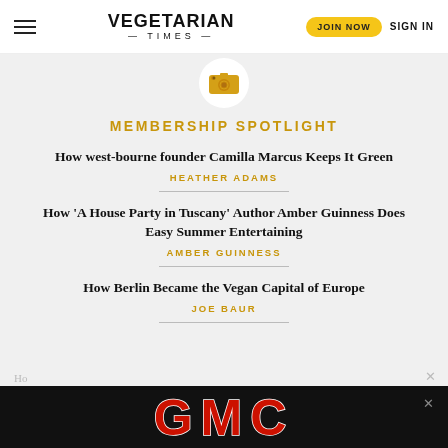VEGETARIAN TIMES | JOIN NOW | SIGN IN
[Figure (logo): Camera icon in white circle on grey background]
MEMBERSHIP SPOTLIGHT
How west-bourne founder Camilla Marcus Keeps It Green
HEATHER ADAMS
How 'A House Party in Tuscany' Author Amber Guinness Does Easy Summer Entertaining
AMBER GUINNESS
How Berlin Became the Vegan Capital of Europe
JOE BAUR
[Figure (logo): GMC advertisement banner with red GMC logo on black background]